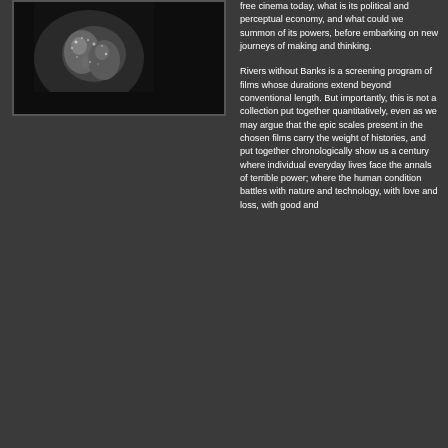[Figure (photo): Dark background photograph showing what appears to be hands or organic forms lit dramatically against a black background]
free cinema today, what is its political and perceptual economy, and what could we summon of its powers, before embarking on new journeys of making and thinking.
Rivers without Banks is a screening program of films whose durations extend beyond conventional length. But importantly, this is not a collection put together quantitatively, even as we may argue that the epic scales present in the chosen films carry the weight of histories, and put together chronologically show us a century where individual everyday lives face the annals of terrible power; where the human condition battles with nature and technology, with love and loss, with good and